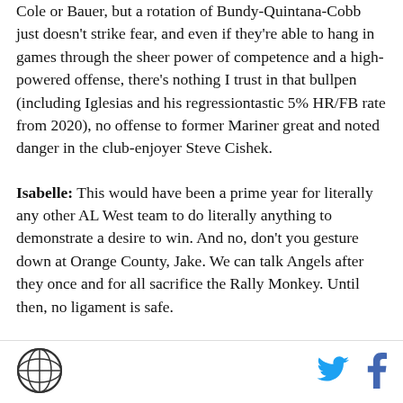Cole or Bauer, but a rotation of Bundy-Quintana-Cobb just doesn't strike fear, and even if they're able to hang in games through the sheer power of competence and a high-powered offense, there's nothing I trust in that bullpen (including Iglesias and his regressiontastic 5% HR/FB rate from 2020), no offense to former Mariner great and noted danger in the club-enjoyer Steve Cishek.
Isabelle: This would have been a prime year for literally any other AL West team to do literally anything to demonstrate a desire to win. And no, don't you gesture down at Orange County, Jake. We can talk Angels after they once and for all sacrifice the Rally Monkey. Until then, no ligament is safe.
[Figure (logo): Circular logo with globe/grid design, dark outline on white background]
[Figure (logo): Twitter bird icon in blue]
[Figure (logo): Facebook f icon in dark blue]